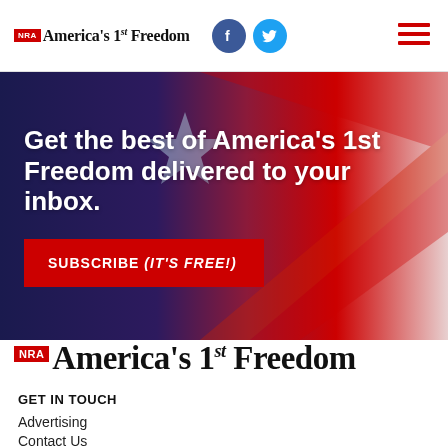NRA America's 1st Freedom
[Figure (infographic): Promotional banner with American flag background. Text reads: Get the best of America's 1st Freedom delivered to your inbox. Red subscribe button: SUBSCRIBE (IT'S FREE!)]
[Figure (logo): NRA America's 1st Freedom logo in large serif font with red NRA badge]
GET IN TOUCH
Advertising
Contact Us